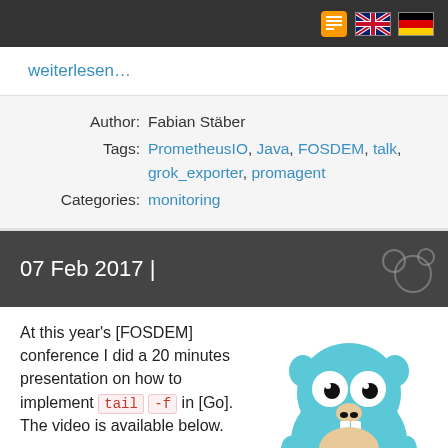Navigation bar with RSS, UK flag, German flag icons
weiterlesen…
Author: Fabian Stäber
Tags: PrometheusIO, Java, FOSDEM, talk, grok_exporter, promagent
Categories: monitoring
07 Feb 2017 |
[Figure (illustration): Go gopher mascot illustration — blue cartoon gopher character]
At this year's [FOSDEM] conference I did a 20 minutes presentation on how to implement tail -f in [Go]. The video is available below.